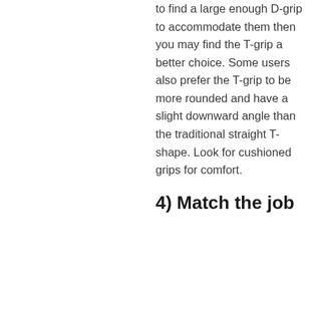to find a large enough D-grip to accommodate them then you may find the T-grip a better choice. Some users also prefer the T-grip to be more rounded and have a slight downward angle than the traditional straight T-shape. Look for cushioned grips for comfort.
4) Match the job